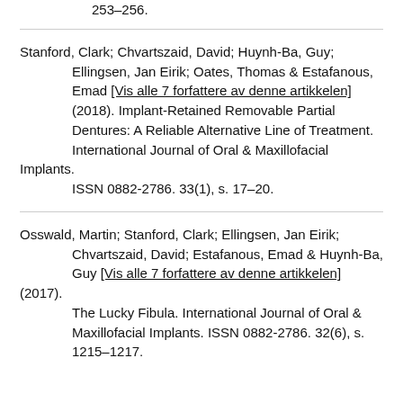253–256.
Stanford, Clark; Chvartszaid, David; Huynh-Ba, Guy; Ellingsen, Jan Eirik; Oates, Thomas & Estafanous, Emad [Vis alle 7 forfattere av denne artikkelen] (2018). Implant-Retained Removable Partial Dentures: A Reliable Alternative Line of Treatment. International Journal of Oral & Maxillofacial Implants. ISSN 0882-2786. 33(1), s. 17–20.
Osswald, Martin; Stanford, Clark; Ellingsen, Jan Eirik; Chvartszaid, David; Estafanous, Emad & Huynh-Ba, Guy [Vis alle 7 forfattere av denne artikkelen] (2017). The Lucky Fibula. International Journal of Oral & Maxillofacial Implants. ISSN 0882-2786. 32(6), s. 1215–1217.